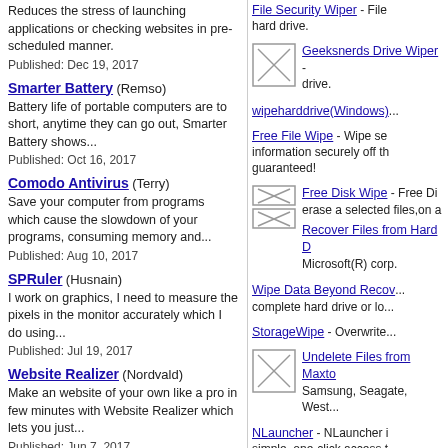Reduces the stress of launching applications or checking websites in pre-scheduled manner.
Published: Dec 19, 2017
Smarter Battery (Remso)
Battery life of portable computers are to short, anytime they can go out, Smarter Battery shows...
Published: Oct 16, 2017
Comodo Antivirus (Terry)
Save your computer from programs which cause the slowdown of your programs, consuming memory and...
Published: Aug 10, 2017
SPRuler (Husnain)
I work on graphics, I need to measure the pixels in the monitor accurately which I do using...
Published: Jul 19, 2017
Website Realizer (Nordvald)
Make an website of your own like a pro in few minutes with Website Realizer which lets you just...
Published: Jun 7, 2017
File Security Wiper - File... hard drive.
Geeksnerds Drive Wiper -... drive.
wipeharddrive(Windows)...
Free File Wipe - Wipe sensitive information securely off th... guaranteed!
Free Disk Wipe - Free Dis... erase a selected files,on a...
Recover Files from Hard D... Microsoft(R) corp.
Wipe Data Beyond Recov... complete hard drive or lo...
StorageWipe - Overwrite...
Undelete Files from Maxto... Samsung, Seagate, West...
NLauncher - NLauncher is... simple, one-click access t... them when you want.
nobox.de InvisibleSecrets... Schlüssel zur Verfügu... verstecken Informationen...